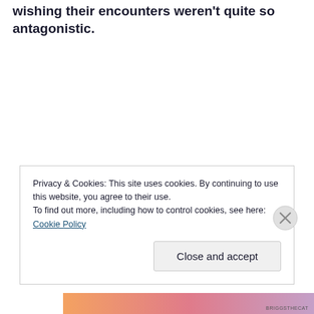wishing their encounters weren't quite so antagonistic.
Privacy & Cookies: This site uses cookies. By continuing to use this website, you agree to their use.
To find out more, including how to control cookies, see here: Cookie Policy